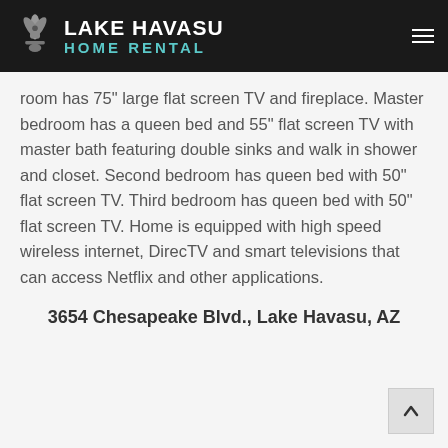Lake Havasu Home Rental
room has 75" large flat screen TV and fireplace. Master bedroom has a queen bed and 55" flat screen TV with master bath featuring double sinks and walk in shower and closet. Second bedroom has queen bed with 50" flat screen TV. Third bedroom has queen bed with 50" flat screen TV. Home is equipped with high speed wireless internet, DirecTV and smart televisions that can access Netflix and other applications.
3654 Chesapeake Blvd., Lake Havasu, AZ